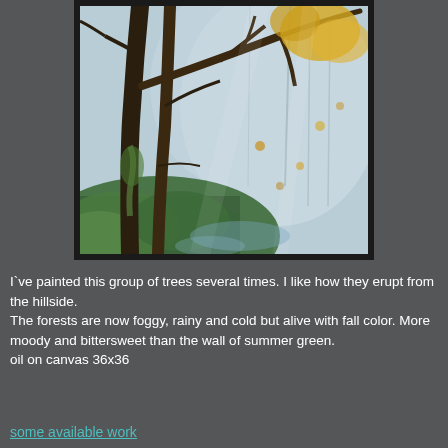[Figure (illustration): Oil painting of a group of trees erupting from a hillside in a foggy forest scene with fall foliage — yellows, greens, blues, browns — framed in a thick black frame.]
I`ve painted this group of trees several times. I like how they erupt from the hillside.
The forests are now foggy, rainy and cold but alive with fall color. More moody and bittersweet than the wall of summer green.
oil on canvas 36x36
some available work